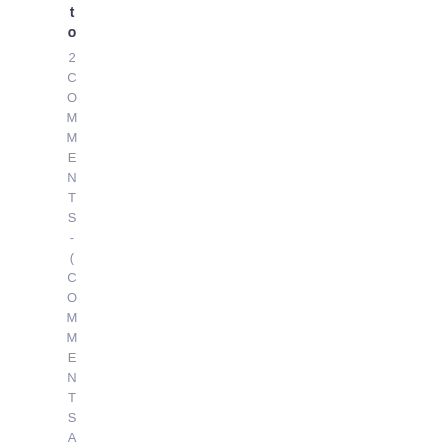to 2 COMMENTS - (COMMENTS ARE CLO